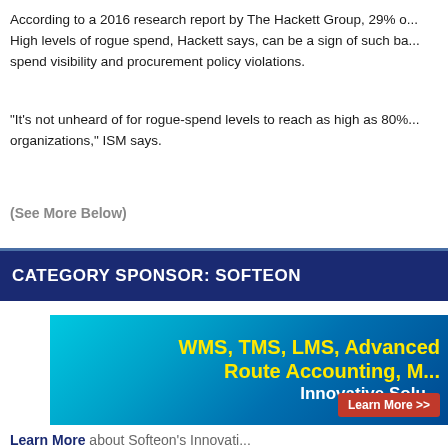According to a 2016 research report by The Hackett Group, 29% o... High levels of rogue spend, Hackett says, can be a sign of such ba... spend visibility and procurement policy violations.
"It's not unheard of for rogue-spend levels to reach as high as 80%... organizations," ISM says.
(See More Below)
CATEGORY SPONSOR: SOFTEON
[Figure (illustration): Softeon advertisement banner with cyan/blue gradient background showing text: WMS, TMS, LMS, Advanced Route Accounting, Innovative Solu... with a Learn More button]
Learn More about Softeon's Innovati...